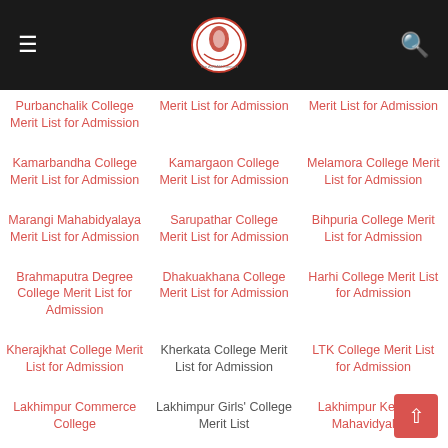Navigation header with hamburger menu, site logo, and search icon
Purbanchalik College Merit List for Admission
Merit List for Admission
Merit List for Admission
Kamarbandha College Merit List for Admission
Kamargaon College Merit List for Admission
Melamora College Merit List for Admission
Marangi Mahabidyalaya Merit List for Admission
Sarupathar College Merit List for Admission
Bihpuria College Merit List for Admission
Brahmaputra Degree College Merit List for Admission
Dhakuakhana College Merit List for Admission
Harhi College Merit List for Admission
Kherajkhat College Merit List for Admission
Kherkata College Merit List for Admission
LTK College Merit List for Admission
Lakhimpur Commerce College
Lakhimpur Girls' College Merit List
Lakhimpur Kendriya Mahavidyalaya